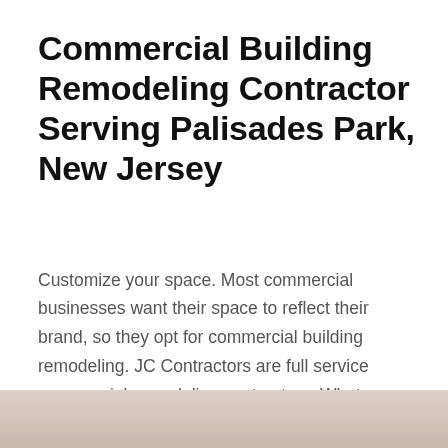Commercial Building Remodeling Contractor Serving Palisades Park, New Jersey
Customize your space. Most commercial businesses want their space to reflect their brand, so they opt for commercial building remodeling. JC Contractors are full service commercial remodeling contractors. Whatever your commercial remodeling vision for your space is, we can help make it happen with our team's commercial remodeling services.
[Figure (photo): Partial photo of a commercial remodeling project, cropped at bottom of page]